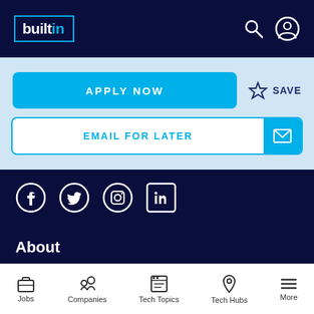builtin
APPLY NOW
SAVE
EMAIL FOR LATER
[Figure (screenshot): Social media icons: Facebook, Twitter, Instagram, LinkedIn]
About
Our Story
Careers
Jobs | Companies | Tech Topics | Tech Hubs | More